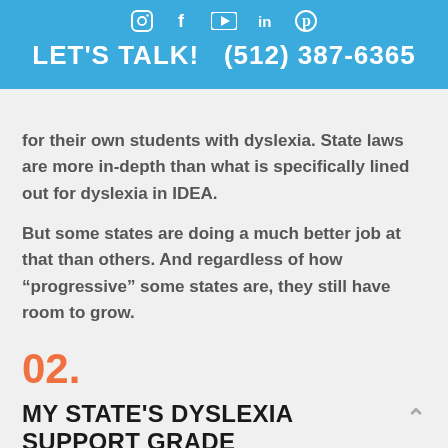LET'S TALK!  (512) 387-6365
for their own students with dyslexia. State laws are more in-depth than what is specifically lined out for dyslexia in IDEA.
But some states are doing a much better job at that than others. And regardless of how “progressive” some states are, they still have room to grow.
02.
MY STATE'S DYSLEXIA SUPPORT GRADE